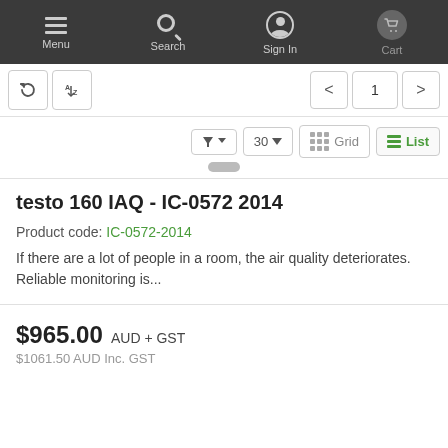Menu | Search | Sign In | Cart
[Figure (screenshot): Website navigation toolbar with sort, filter, pagination, grid/list view controls]
testo 160 IAQ - IC-0572 2014
Product code: IC-0572-2014
If there are a lot of people in a room, the air quality deteriorates. Reliable monitoring is...
$965.00 AUD + GST
$1061.50 AUD Inc. GST